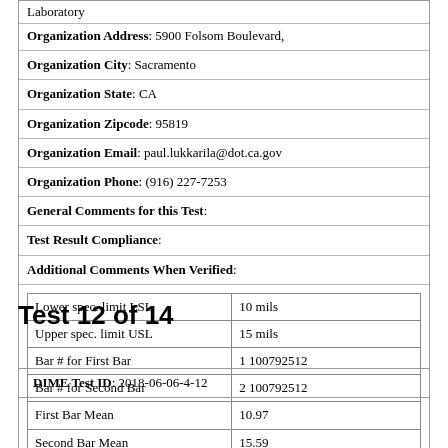Laboratory
Organization Address: 5900 Folsom Boulevard,
Organization City: Sacramento
Organization State: CA
Organization Zipcode: 95819
Organization Email: paul.lukkarila@dot.ca.gov
Organization Phone: (916) 227-7253
General Comments for this Test:
Test Result Compliance:
Additional Comments When Verified:
|  |  |
| --- | --- |
| Lower spec. limit LSL | 10 mils |
| Upper spec. limit USL | 15 mils |
| Bar # for First Bar | 1 100792512 |
| Bar # for Second Bar | 2 100792512 |
| First Bar Mean | 10.97 |
| Second Bar Mean | 15.59 |
| Total mean value | 13.28 |
Test 12 of 14
DIME Test ID: 2018-06-06-4-12